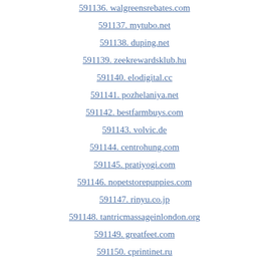591136. walgreensrebates.com
591137. mytubo.net
591138. duping.net
591139. zeekrewardsklub.hu
591140. elodigital.cc
591141. pozhelaniya.net
591142. bestfarmbuys.com
591143. volvic.de
591144. centrohung.com
591145. pratiyogi.com
591146. nopetstorepuppies.com
591147. rinyu.co.jp
591148. tantricmassageinlondon.org
591149. greatfeet.com
591150. cprintinet.ru